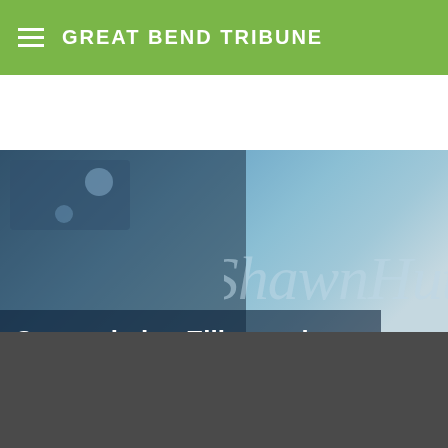GREAT BEND TRIBUNE
[Figure (photo): News article hero image showing puzzle pieces with 'Shawn Hut' text visible in the background, with a dark overlay on the left side. Image accompanies an article about county helping Ellinwood with water and sewer projects.]
County helps Ellinwood with water, sewer projects